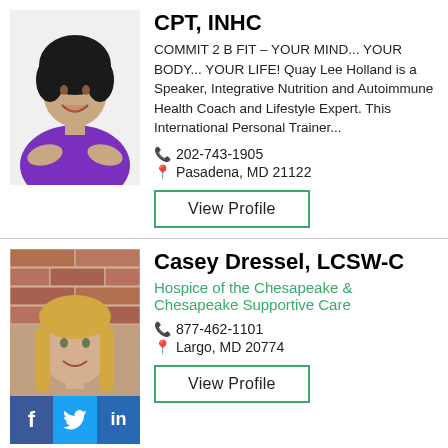[Figure (photo): Photo of Quay Lee Holland, a woman in a purple blouse smiling with hands outstretched, white background]
CPT, INHC
COMMIT 2 B FIT – YOUR MIND... YOUR BODY... YOUR LIFE! Quay Lee Holland is a Speaker, Integrative Nutrition and Autoimmune Health Coach and Lifestyle Expert. This International Personal Trainer...
202-743-1905
Pasadena, MD 21122
View Profile
[Figure (photo): Photo of Casey Dressel, a woman with long blonde hair smiling, in front of a brick wall background]
Casey Dressel, LCSW-C
Hospice of the Chesapeake & Chesapeake Supportive Care
877-462-1101
Largo, MD 20774
View Profile
[Figure (infographic): Social media icons bar: Facebook (f), Twitter (bird), LinkedIn (in)]